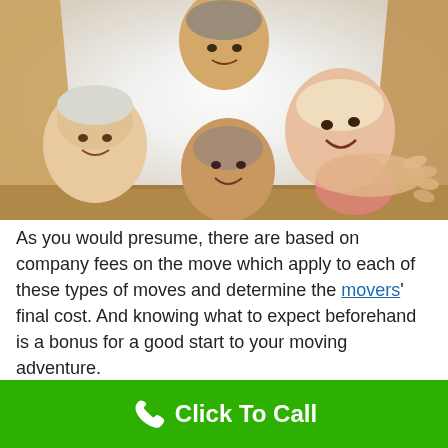[Figure (photo): View from inside a cardboard moving box looking up at a smiling family of four (grandmother, child/girl in pink, father, and another adult) peering over the edges of the box]
As you would presume, there are based on company fees on the move which apply to each of these types of moves and determine the movers' final cost. And knowing what to expect beforehand is a bonus for a good start to your moving adventure.
Click To Call